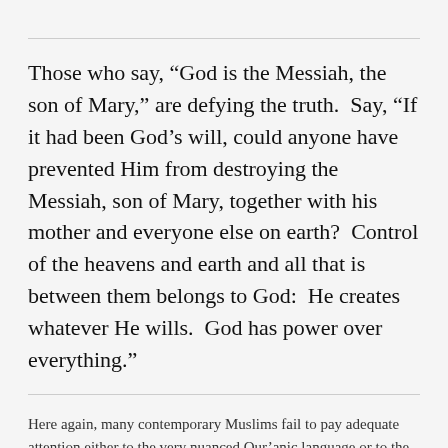Those who say, “God is the Messiah, the son of Mary,” are defying the truth.  Say, “If it had been God’s will, could anyone have prevented Him from destroying the Messiah, son of Mary, together with his mother and everyone else on earth?  Control of the heavens and earth and all that is between them belongs to God:  He creates whatever He wills.  God has power over everything.”
Here again, many contemporary Muslims fail to pay adequate attention either to the very nuanced Qur’anic language or to the Christian explanations of the meaning